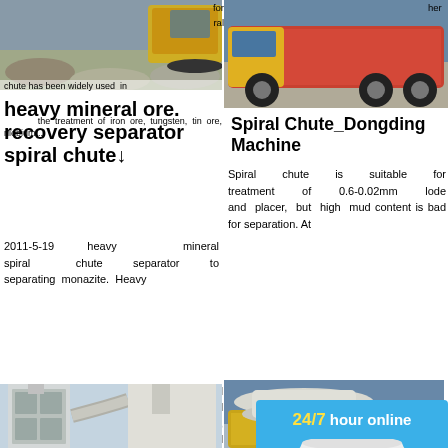[Figure (photo): Excavator and mining machinery working on heavy mineral ore site]
heavy mineral ore. recovery separator spiral chute
chute has been widely used in the treatment of iron ore, tungsten, tin ore, niobium ...
2011-5-19  heavy mineral spiral chute separator to separating monazite. Heavy  ral  nd  re,  old
[Figure (photo): Industrial dust collector / mill equipment with pipes and ducts]
de. the force of water flow,
Spiral Chute With High Quality Fote Machinery
gravity, inertial centrifuge and
2021-9-29  Spiral chute introduction. The spiral chute is a gravity separation equipment that makes use of the inertial
[Figure (photo): Close up of rotating screening equipment with perforated surface]
by  ral  ht
[Figure (photo): Spiral Chute_Dongding Machine - truck loaded with equipment]
Spiral Chute_Dongding Machine
Spiral chute is suitable for treatment of 0.6-0.02mm lode and placer, but high mud content is bad for separation. At
[Figure (photo): Spiral separator machinery on a truck at Ganzhou Machine plant]
en
Spiral Se... Ganzhou... Machine...
China Spi... of 5ll Sp...
<< Previous: Beneficiati... Mineral P... Paint Plant...
>> Next: An... Zircon: San...
[Figure (infographic): 24/7 hour online popup chat widget with cone crusher image, Click me to chat button, Enquiry button, and limingjlmofen contact]